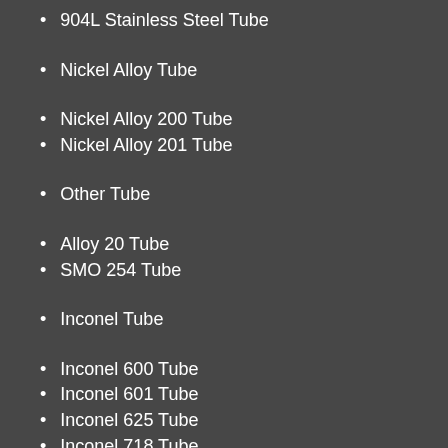904L Stainless Steel Tube
Nickel Alloy Tube
Nickel Alloy 200 Tube
Nickel Alloy 201 Tube
Other Tube
Alloy 20 Tube
SMO 254 Tube
Inconel Tube
Inconel 600 Tube
Inconel 601 Tube
Inconel 625 Tube
Inconel 718 Tube